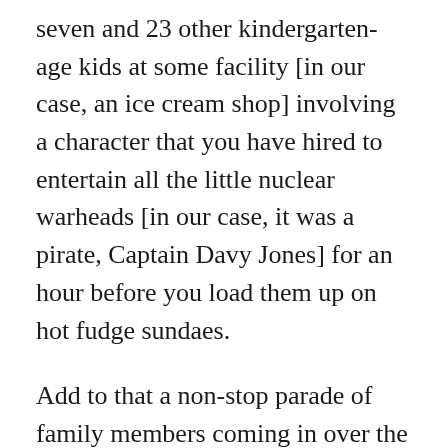seven and 23 other kindergarten-age kids at some facility [in our case, an ice cream shop] involving a character that you have hired to entertain all the little nuclear warheads [in our case, it was a pirate, Captain Davy Jones] for an hour before you load them up on hot fudge sundaes.
Add to that a non-stop parade of family members coming in over the better part of two weeks, and the kids being at home for their Christmas break, it was all I could do just to turn the coffee maker on in the morning, never mind